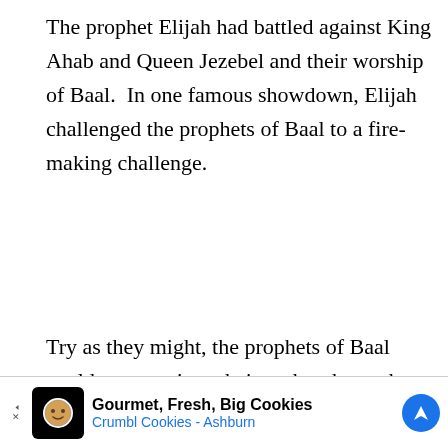The prophet Elijah had battled against King Ahab and Queen Jezebel and their worship of Baal.  In one famous showdown, Elijah challenged the prophets of Baal to a fire-making challenge.
Try as they might, the prophets of Baal could not convince their god to throw down fire from above.  Elijah, meanwhile, drenched his altar with water, so that starting a fire would require a heavenly miracle.
[Figure (illustration): Partial illustration of red and orange flames, partially cut off at the bottom of the page.]
[Figure (other): Advertisement banner for Crumbl Cookies - Ashburn. Shows a cookie logo icon, text 'Gourmet, Fresh, Big Cookies' and 'Crumbl Cookies - Ashburn', with a blue navigation badge icon. Includes ad arrow/close controls.]